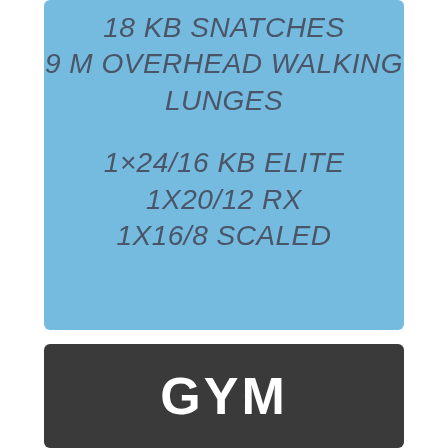18 KB SNATCHES
9 M OVERHEAD WALKING LUNGES
1×24/16 KB ELITE
1X20/12 RX
1X16/8 SCALED
GYM